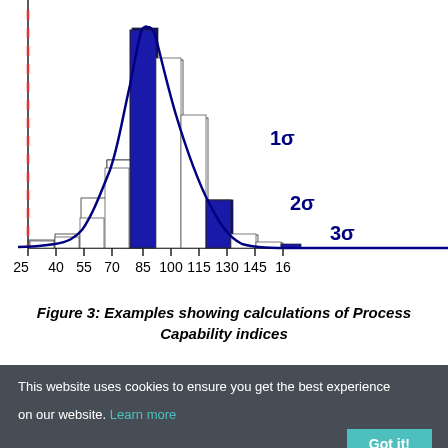[Figure (continuous-plot): A histogram overlaid with a normal distribution (bell) curve. Bars are white/outlined. The center bar at ~85 is highlighted in dark blue (mean). Three dark blue highlighted bars mark 1σ, 2σ, 3σ positions. A red dashed vertical line appears at approximately x=25 (far left). Sigma annotations (1σ, 2σ, 3σ) appear in blue on the right side of the distribution. X-axis runs from 25 to 160+ with ticks at 25, 40, 55, 70, 85, 100, 115, 130, 145, 16...]
Figure 3: Examples showing calculations of Process Capability indices
This website uses cookies to ensure you get the best experience on our website. Learn more